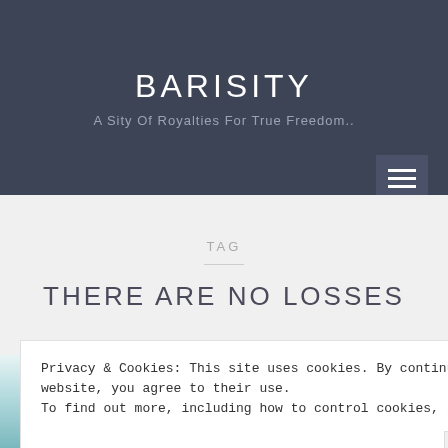BARISITY
A Sity Of Royalties For True Freedom..
TAG
THERE ARE NO LOSSES
[Figure (photo): Partial beach/ocean image visible at the bottom of the page]
Privacy & Cookies: This site uses cookies. By continuing to use this website, you agree to their use.
To find out more, including how to control cookies, see here: Cookie Policy
Close and accept